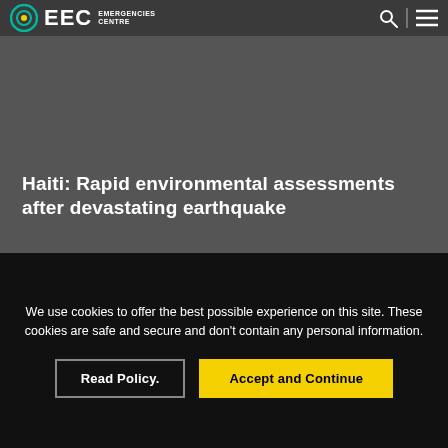EEC EMERGENCIES CENTRE
Haiti: Rapid environmental assessments after devastating earthquake
We use cookies to offer the best possible experience on this site. These cookies are safe and secure and don't contain any personal information.
Read Policy.
Accept and Continue